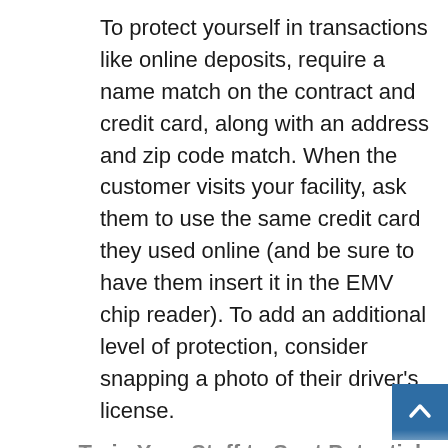To protect yourself in transactions like online deposits, require a name match on the contract and credit card, along with an address and zip code match. When the customer visits your facility, ask them to use the same credit card they used online (and be sure to have them insert it in the EMV chip reader). To add an additional level of protection, consider snapping a photo of their driver's license.
Train Your Staff to Spot Potential Fraudulent Behavior
Fraud can happen at any time and it often takes a keen eye to spot it.
Training your staff on how to spot potential fraud is key to helping protect your...